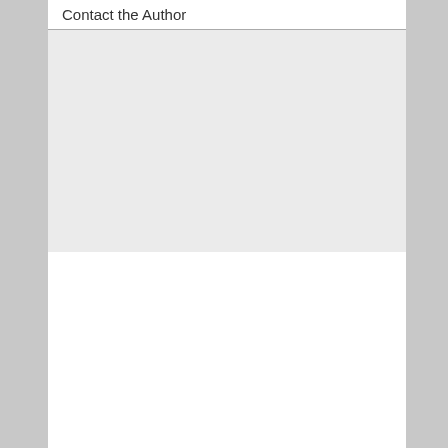Contact the Author
About the Author